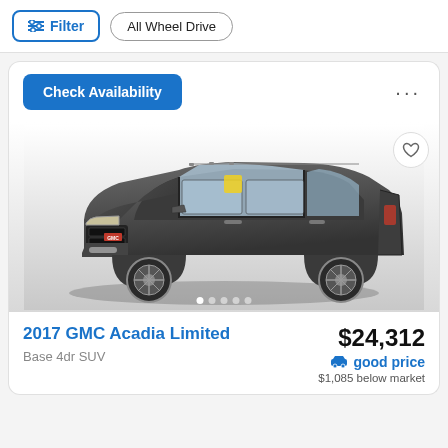Filter | All Wheel Drive
Check Availability
[Figure (photo): 2017 GMC Acadia Limited SUV in dark gray, three-quarter front view, with yellow dealer sticker on windshield, shown against a white/gradient background. Image carousel with 5 dot indicators.]
2017 GMC Acadia Limited
Base 4dr SUV
$24,312
good price
$1,085 below market